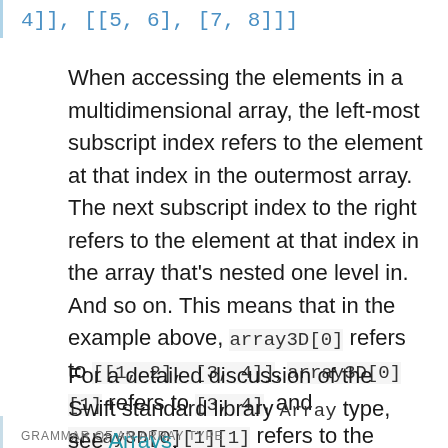4]], [[5, 6], [7, 8]]]
When accessing the elements in a multidimensional array, the left-most subscript index refers to the element at that index in the outermost array. The next subscript index to the right refers to the element at that index in the array that’s nested one level in. And so on. This means that in the example above, array3D[0] refers to [[1, 2], [3, 4]], array3D[0][1] refers to [3, 4], and array3D[0][1][1] refers to the value 4.
For a detailed discussion of the Swift standard library Array type, see Arrays.
GRAMMAR OF AN ARRAY TYPE
array-type → [ type ]